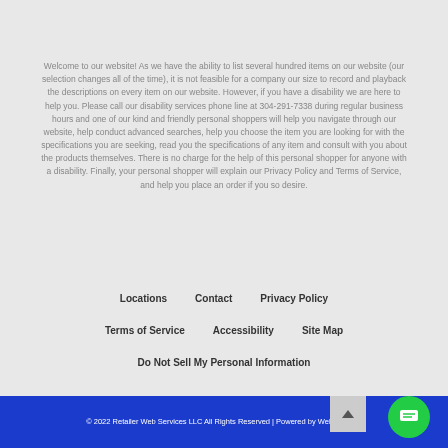Welcome to our website! As we have the ability to list several hundred items on our website (our selection changes all of the time), it is not feasible for a company our size to record and playback the descriptions on every item on our website. However, if you have a disability we are here to help you. Please call our disability services phone line at 304-291-7338 during regular business hours and one of our kind and friendly personal shoppers will help you navigate through our website, help conduct advanced searches, help you choose the item you are looking for with the specifications you are seeking, read you the specifications of any item and consult with you about the products themselves. There is no charge for the help of this personal shopper for anyone with a disability. Finally, your personal shopper will explain our Privacy Policy and Terms of Service, and help you place an order if you so desire.
Locations
Contact
Privacy Policy
Terms of Service
Accessibility
Site Map
Do Not Sell My Personal Information
© 2022 Retailer Web Services LLC All Rights Reserved | Powered by WebFronts™